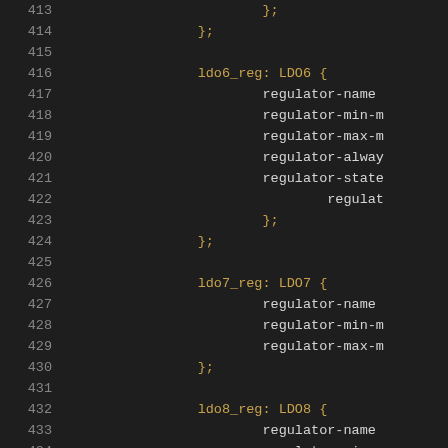Code listing lines 413-434 showing device tree regulator configuration with ldo6_reg: LDO6, ldo7_reg: LDO7, and ldo8_reg: LDO8 entries